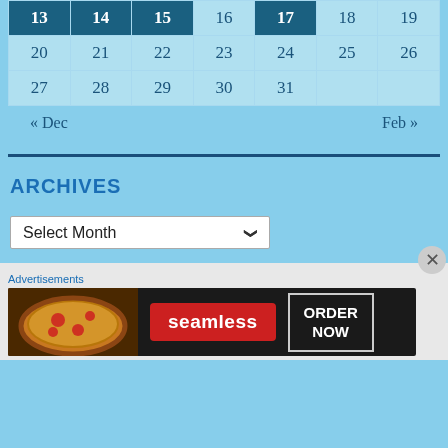| 13 | 14 | 15 | 16 | 17 | 18 | 19 |
| 20 | 21 | 22 | 23 | 24 | 25 | 26 |
| 27 | 28 | 29 | 30 | 31 |  |  |
« Dec    Feb »
ARCHIVES
Select Month
[Figure (screenshot): Seamless food delivery advertisement banner with pizza image, Seamless logo in red, and ORDER NOW button]
Advertisements